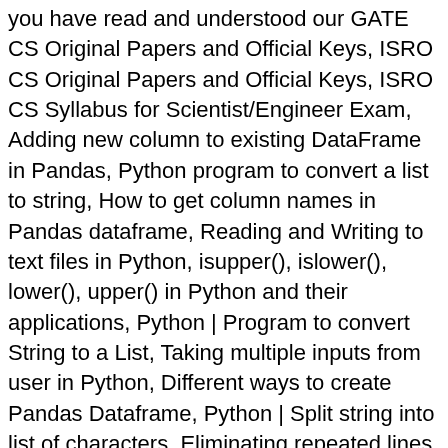you have read and understood our GATE CS Original Papers and Official Keys, ISRO CS Original Papers and Official Keys, ISRO CS Syllabus for Scientist/Engineer Exam, Adding new column to existing DataFrame in Pandas, Python program to convert a list to string, How to get column names in Pandas dataframe, Reading and Writing to text files in Python, isupper(), islower(), lower(), upper() in Python and their applications, Python | Program to convert String to a List, Taking multiple inputs from user in Python, Different ways to create Pandas Dataframe, Python | Split string into list of characters, Eliminating repeated lines from a file using Python, Python - Retrieve latest Covid-19 World Data using COVID19Py library, Python - Ways to remove duplicates from list, Python | Get key from value in Dictionary, Write Interview Pandas changed some columns to float, so now the numbers in these columns get displayed as floating points! The code is,eval(ez_write_tag([[300,250],'delftstack_com-medrectangle-4','ezslot_1',112,'0','0'])); After running the above codes, we will get the following output. Please use ide.geeksforgeeks.org, Anton(int) to Convert float to int in Pandas – first, let's understand